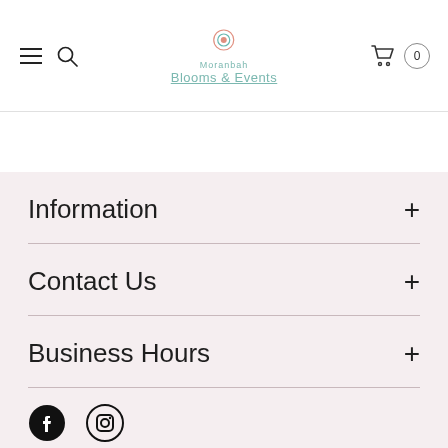Moranbah Blooms & Events — navigation header with logo, search, and cart
Information
Contact Us
Business Hours
[Figure (illustration): Facebook and Instagram social media icons at the bottom of the page]